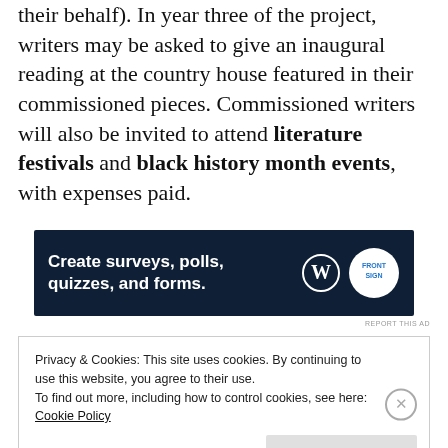their behalf). In year three of the project, writers may be asked to give an inaugural reading at the country house featured in their commissioned pieces. Commissioned writers will also be invited to attend literature festivals and black history month events, with expenses paid.
[Figure (other): Advertisement banner for WordPress/Crowdsignal: 'Create surveys, polls, quizzes, and forms.' with WordPress and Crowdsignal logos on dark navy background.]
REPORT THIS AD
Privacy & Cookies: This site uses cookies. By continuing to use this website, you agree to their use.
To find out more, including how to control cookies, see here:
Cookie Policy
[Close and accept]